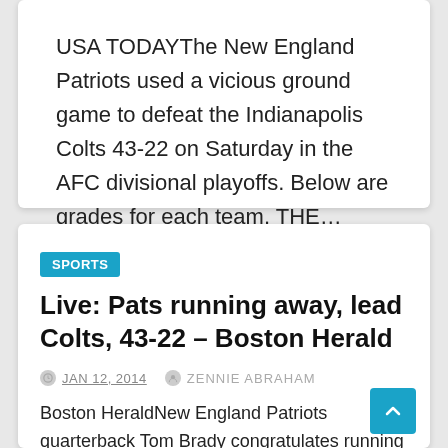USA TODAYThe New England Patriots used a vicious ground game to defeat the Indianapolis Colts 43-22 on Saturday in the AFC divisional playoffs. Below are grades for each team. THE…
SPORTS
Live: Pats running away, lead Colts, 43-22 – Boston Herald
JAN 12, 2014   ZENNIE ABRAHAM
Boston HeraldNew England Patriots quarterback Tom Brady congratulates running back LeGarrette Blount